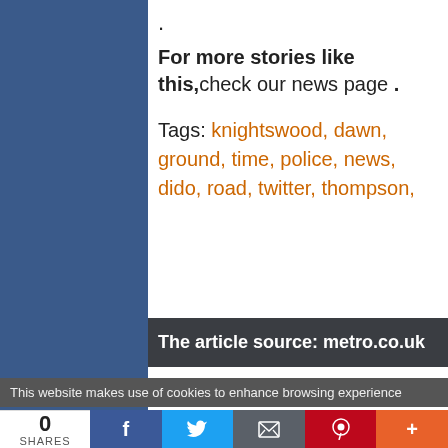.
For more stories like this,check our news page .
Tags: knightswood, dawn, ground, time, police, news, dido, road, twitter, thompson,
The article source: metro.co.uk
This website makes use of cookies to enhance browsing experience
0 SHARES